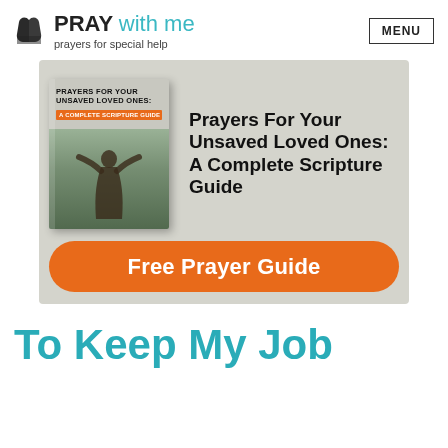PRAY with me — prayers for special help | MENU
[Figure (illustration): Advertisement banner for a book titled 'Prayers For Your Unsaved Loved Ones: A Complete Scripture Guide' with an orange 'Free Prayer Guide' call-to-action button. Shows a book cover with a person praying outdoors against a mountainous background.]
To Keep My Job